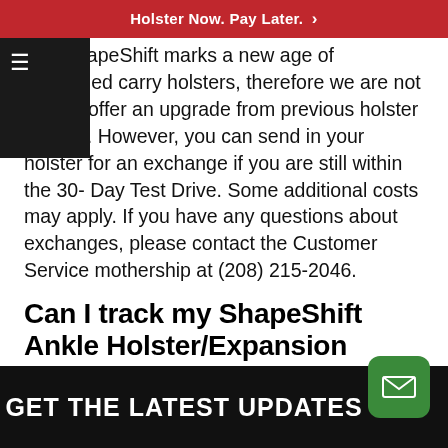Holster Now. Pay Later. >
The ShapeShift marks a new age of concealed carry holsters, therefore we are not able to offer an upgrade from previous holster models. However, you can send in your holster for an exchange if you are still within the 30-Day Test Drive. Some additional costs may apply. If you have any questions about exchanges, please contact the Customer Service mothership at (208) 215-2046.
Can I track my ShapeShift Ankle Holster/Expansion order?
Create an Alien Gear Holsters account prior to purchase to track your order! When your order is placed, you will receive a confirmation email, and you will also receive a second tracking email when the order is shipped.
GET THE LATEST UPDATES